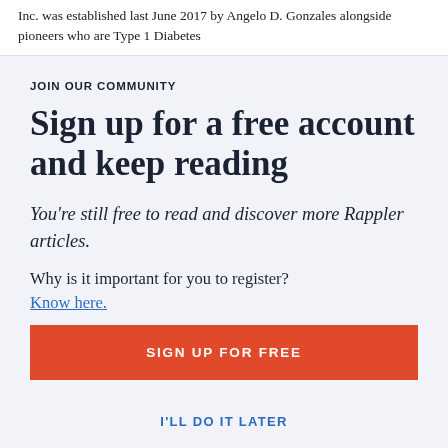Inc. was established last June 2017 by Angelo D. Gonzales alongside pioneers who are Type 1 Diabetes
JOIN OUR COMMUNITY
Sign up for a free account and keep reading
You're still free to read and discover more Rappler articles.
Why is it important for you to register?
Know here.
SIGN UP FOR FREE
I'LL DO IT LATER